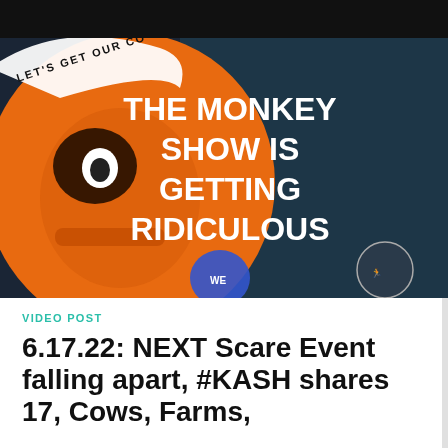[Figure (photo): Thumbnail image for a video post showing an orange cartoon monkey face on the left with text on a circular badge reading 'LET'S GET OUR CO...' and on the right bold white text on dark background reading 'THE MONKEY SHOW IS GETTING RIDICULOUS'. A circular logo with a figure is visible bottom right.]
VIDEO POST
6.17.22: NEXT Scare Event falling apart, #KASH shares 17, Cows, Farms,